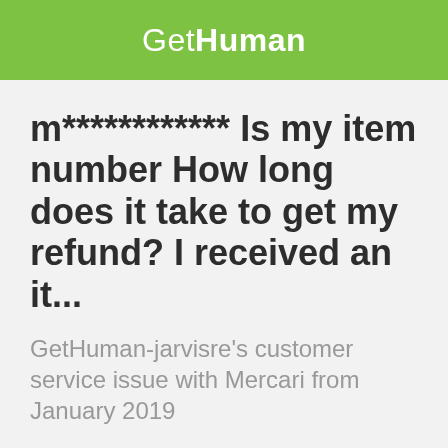GetHuman
m************ Is my item number How long does it take to get my refund? I received an it...
GetHuman-jarvisre's customer service issue with Mercari from January 2019
5 views | 4535 similar | 0 following